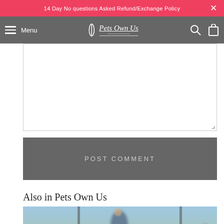14 Day No questions Asked Refund/Exchange Policy
Menu | Pets Own Us
[Figure (screenshot): Empty text area input box for comment]
POST COMMENT
Also in Pets Own Us
[Figure (photo): Blurry outdoor photo of a person on a bicycle at a dirt track or park, with poles/structures in background]